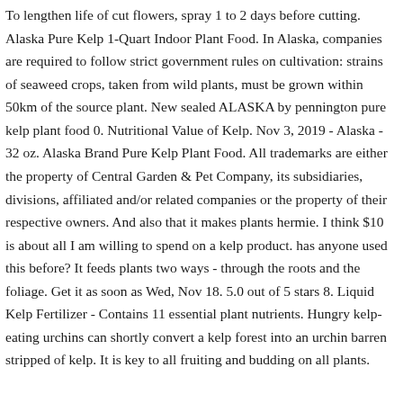To lengthen life of cut flowers, spray 1 to 2 days before cutting. Alaska Pure Kelp 1-Quart Indoor Plant Food. In Alaska, companies are required to follow strict government rules on cultivation: strains of seaweed crops, taken from wild plants, must be grown within 50km of the source plant. New sealed ALASKA by pennington pure kelp plant food 0. Nutritional Value of Kelp. Nov 3, 2019 - Alaska - 32 oz. Alaska Brand Pure Kelp Plant Food. All trademarks are either the property of Central Garden & Pet Company, its subsidiaries, divisions, affiliated and/or related companies or the property of their respective owners. And also that it makes plants hermie. I think $10 is about all I am willing to spend on a kelp product. has anyone used this before? It feeds plants two ways - through the roots and the foliage. Get it as soon as Wed, Nov 18. 5.0 out of 5 stars 8. Liquid Kelp Fertilizer - Contains 11 essential plant nutrients. Hungry kelp-eating urchins can shortly convert a kelp forest into an urchin barren stripped of kelp. It is key to all fruiting and budding on all plants.